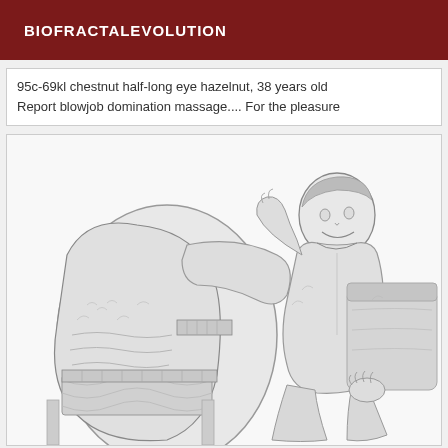BIOFRACTALEVOLUTION
95c-69kl chestnut half-long eye hazelnut, 38 years old
Report blowjob domination massage.... For the pleasure
[Figure (illustration): Pencil sketch illustration showing two figures: a large figure on the left in patterned clothing and a man on the right reclining on a couch, smiling.]